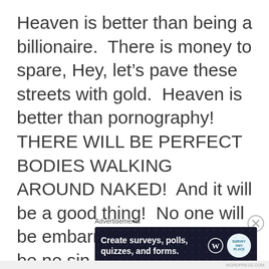Heaven is better than being a billionaire.  There is money to spare, Hey, let’s pave these streets with gold.  Heaven is better than pornography!  THERE WILL BE PERFECT BODIES WALKING AROUND NAKED!  And it will be a good thing!  No one will be embarrassed!  (There will be no sin
[Figure (other): Close/dismiss button (circled X icon)]
Advertisements
[Figure (screenshot): Advertisement banner with dark navy background showing text 'Create surveys, polls, quizzes, and forms.' with WordPress logo and Survey Anyplace badge]